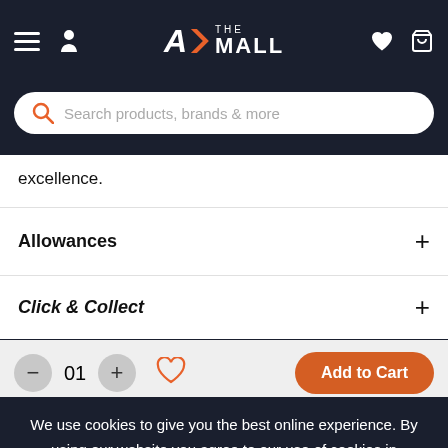A> THE MALL — navigation bar with hamburger menu, user icon, logo, heart icon, cart icon
Search products, brands & more
excellence.
Allowances +
Click & Collect +
01 — Add to Cart
We use cookies to give you the best online experience. By using our website you agree to our use of cookies in accordance with our privacy policy
Continue